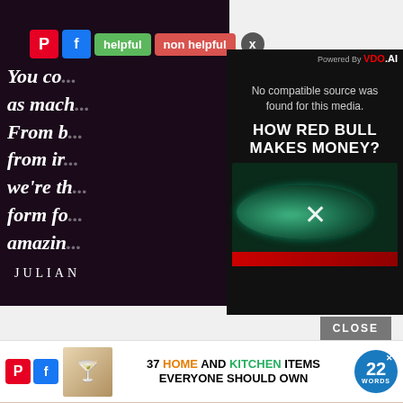[Figure (screenshot): Background article page with dark purple/black background showing partial italic bold white text lines: 'You co...', 'as mach', 'From b...', 'from ir...', 'we're th...', 'form fo...', 'amazin...' and author name 'JULIAN' at bottom]
[Figure (screenshot): UI toolbar with Pinterest button (red P), Facebook button (blue f), green 'helpful' button, red 'non helpful' button, and gray X close button]
[Figure (screenshot): Video player modal overlay on dark background. Shows 'Powered By VDO.AI' branding in top right. Text reads 'No compatible source was found for this media.' Below is video thumbnail with bold white text 'HOW RED BULL MAKES MONEY?' and water ripple/can image with X icon overlay. Red accent at bottom.]
[Figure (screenshot): Gray CLOSE button below the video modal]
[Figure (screenshot): Bottom advertisement bar: Pinterest and Facebook icon buttons, product image of home/kitchen items, text '37 HOME AND KITCHEN ITEMS EVERYONE SHOULD OWN', and 22 Words logo circle]
[Figure (photo): Blurred pinkish/flesh-toned image at the very bottom of the page, partially cut off]